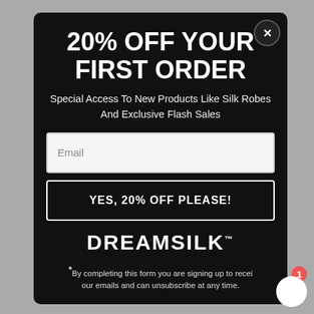20% OFF YOUR FIRST ORDER
Special Access To New Products Like Silk Robes And Exclusive Flash Sales
Email
YES, 20% OFF PLEASE!
[Figure (logo): DREAMSILK brand logo in white bold uppercase letters]
*By completing this form you are signing up to receive our emails and can unsubscribe at any time.